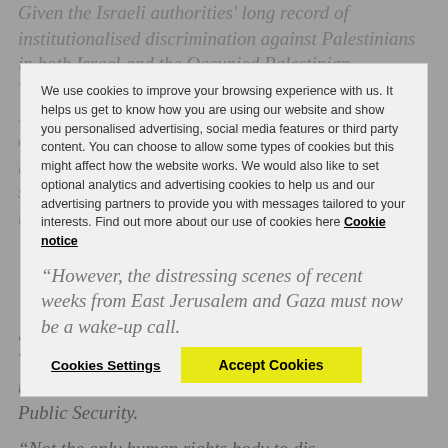Given the Israeli authorities' long record of institutionalised discrimination against Palestinians in both Israel and the Occupied Palestinian Territories, the frequent use of excessive force against Palestinians, and the collective punishment of the entire population of Gaza through an illegal blockade, it's highly questionable whether the PSNI should ever have provided weapons or messages tailored to your interests.
We use cookies to improve your browsing experience with us. It helps us get to know how you are using our website and show you personalised advertising, social media features or third party content. You can choose to allow some types of cookies but this might affect how the website works. We would also like to set optional analytics and advertising cookies to help us and our advertising partners to provide you with messages tailored to your interests. Find out more about our use of cookies here Cookie notice
Cookies Settings   Accept Cookies
“However, the distressing scenes of recent weeks from East Jerusalem and Gaza must now be a wake-up call.
“Even post-ceasefire, normal life for Palestinians living in Israel and the Occupied Palestinian Territories involves systematic oppression, often at the hands of forces under the Israeli Ministry of Public Security.
“Not the only human rights body to dis...